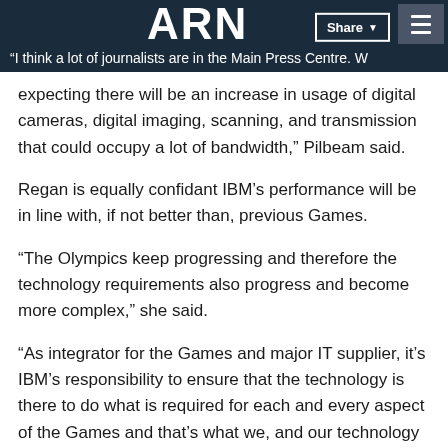ARN | "I think a lot of journalists are in the Main Press Centre. We are expecting there will be an increase in usage of digital cameras, digital imaging, scanning, and transmission that could occupy a lot of bandwidth," Pilbeam said.
expecting there will be an increase in usage of digital cameras, digital imaging, scanning, and transmission that could occupy a lot of bandwidth," Pilbeam said.
Regan is equally confidant IBM's performance will be in line with, if not better than, previous Games.
"The Olympics keep progressing and therefore the technology requirements also progress and become more complex," she said.
"As integrator for the Games and major IT supplier, it's IBM's responsibility to ensure that the technology is there to do what is required for each and every aspect of the Games and that's what we, and our technology partners are working